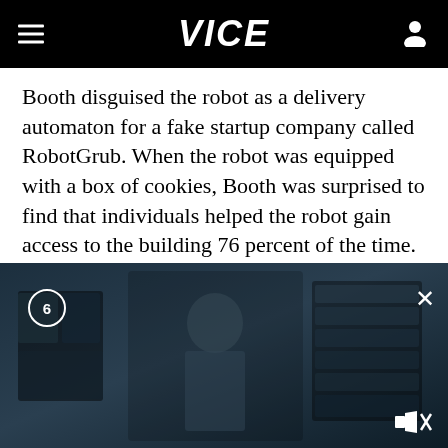VICE
Booth disguised the robot as a delivery automaton for a fake startup company called RobotGrub. When the robot was equipped with a box of cookies, Booth was surprised to find that individuals helped the robot gain access to the building 76 percent of the time.
Although some students demonstrated concern over the robot (one called campus security),
[Figure (screenshot): Video player overlay showing a dark scene with a person, counter showing 6, close button X, and mute icon in bottom right]